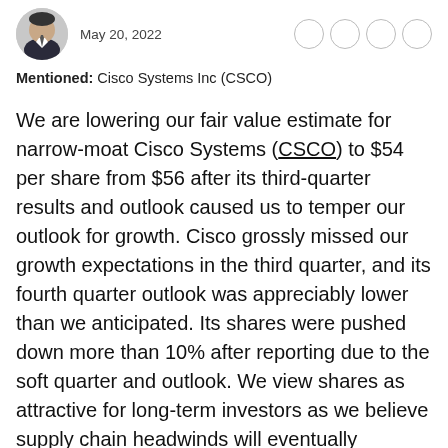[Figure (photo): Circular avatar photo of a person in business attire, partially cropped at the top]
May 20, 2022
Mentioned: Cisco Systems Inc (CSCO)
We are lowering our fair value estimate for narrow-moat Cisco Systems (CSCO) to $54 per share from $56 after its third-quarter results and outlook caused us to temper our outlook for growth. Cisco grossly missed our growth expectations in the third quarter, and its fourth quarter outlook was appreciably lower than we anticipated. Its shares were pushed down more than 10% after reporting due to the soft quarter and outlook. We view shares as attractive for long-term investors as we believe supply chain headwinds will eventually dissipate, while Cisco will remain an essential provider of IT necessities, a resilient operator, and a shareholder-focused firm.